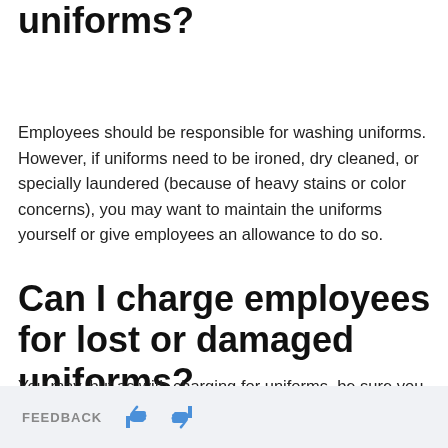Do I have to maintain uniforms?
Employees should be responsible for washing uniforms. However, if uniforms need to be ironed, dry cleaned, or specially laundered (because of heavy stains or color concerns), you may want to maintain the uniforms yourself or give employees an allowance to do so.
Can I charge employees for lost or damaged uniforms?
You may, but as with charging for uniforms, be sure you understand your state laws. If you choose to charge for this, be sure employees are aware when being hired, and include it in the employee handbook. Be specific about uniform standards.
FEEDBACK